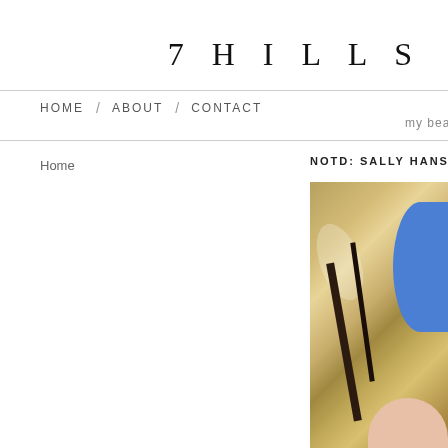7 HILLS
my beau
HOME / ABOUT / CONTACT
Home
NOTD: SALLY HANSEN - PACIFI
[Figure (photo): Close-up photo of a hand with blue nail polish holding a gold/metallic object, showing reflective metallic surface with dark stripes and a finger visible at the bottom]